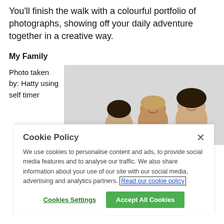You'll finish the walk with a colourful portfolio of photographs, showing off your daily adventure together in a creative way.
My Family
Photo taken by: Hatty using self timer
[Figure (photo): Family selfie photo showing four people smiling, taken with self timer]
Cookie Policy
We use cookies to personalise content and ads, to provide social media features and to analyse our traffic. We also share information about your use of our site with our social media, advertising and analytics partners. Read our cookie policy
Cookies Settings
Accept All Cookies